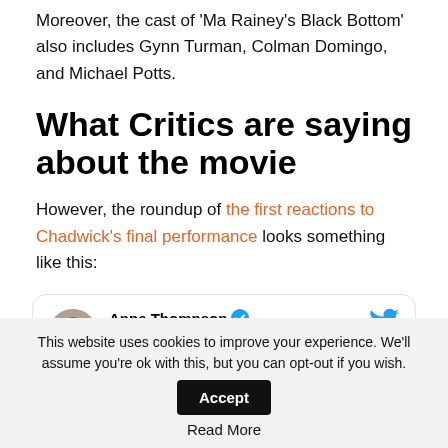Moreover, the cast of 'Ma Rainey's Black Bottom' also includes Gynn Turman, Colman Domingo, and Michael Potts.
What Critics are saying about the movie
However, the roundup of the first reactions to Chadwick's final performance looks something like this:
[Figure (screenshot): Tweet card showing Anne Thompson (@akstanwyck) with a Follow button and Twitter bird icon]
This website uses cookies to improve your experience. We'll assume you're ok with this, but you can opt-out if you wish. Accept Read More